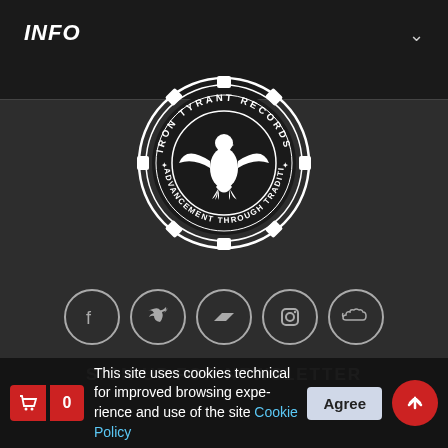INFO
[Figure (logo): Iron Tyrant Records circular logo with gear border, eagle silhouette in center, text reading IRON TYRANT RECORDS and ADVANCEMENT THROUGH TRADITION]
[Figure (infographic): Row of 5 social media icon buttons in circles: Facebook, Twitter, Bandcamp, Instagram, SoundCloud]
SIGN UP FOR NEWSLETTER
This site uses cookies technical for improved browsing experience and use of the site Cookie Policy Agree